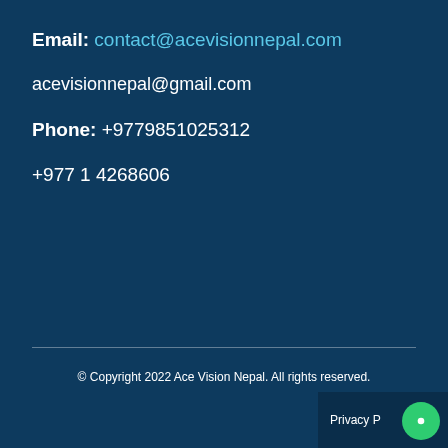Email: contact@acevisionnepal.com
acevisionnepal@gmail.com
Phone: +9779851025312
+977 1 4268606
© Copyright 2022 Ace Vision Nepal. All rights reserved.
Privacy P...